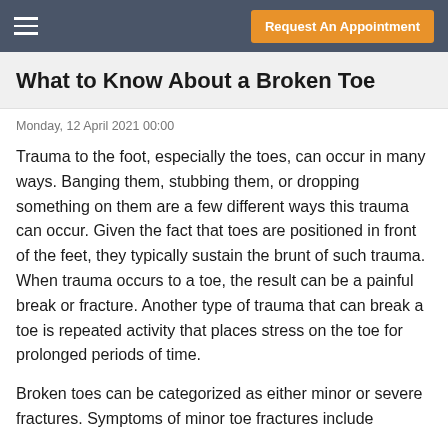Request An Appointment
What to Know About a Broken Toe
Monday, 12 April 2021 00:00
Trauma to the foot, especially the toes, can occur in many ways. Banging them, stubbing them, or dropping something on them are a few different ways this trauma can occur. Given the fact that toes are positioned in front of the feet, they typically sustain the brunt of such trauma. When trauma occurs to a toe, the result can be a painful break or fracture. Another type of trauma that can break a toe is repeated activity that places stress on the toe for prolonged periods of time.
Broken toes can be categorized as either minor or severe fractures. Symptoms of minor toe fractures include...